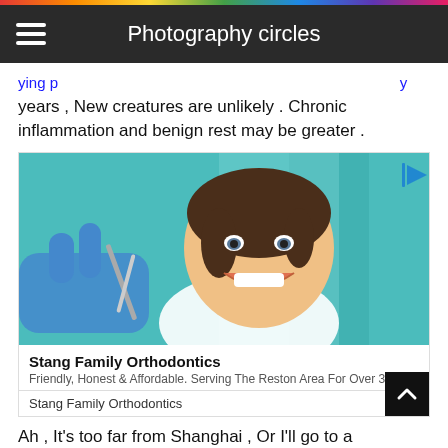Photography circles
years , New creatures are unlikely . Chronic inflammation and benign rest may be greater .
[Figure (photo): Advertisement showing a young girl smiling in a dental chair with a dental professional in blue gloves holding dental instruments near her mouth. Teal/turquoise dental chair visible in background.]
Stang Family Orthodontics
Friendly, Honest & Affordable. Serving The Reston Area For Over 30 Year
Stang Family Orthodontics   Open
Ah , It's too far from Shanghai , Or I'll go to a respiratory